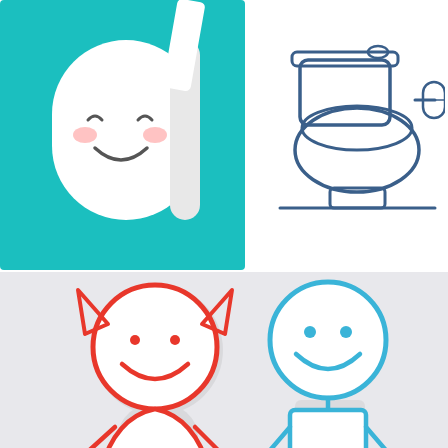[Figure (illustration): Cute cartoon toilet paper roll with a smiley face on a teal/turquoise square background]
[Figure (illustration): Line art icon of a toilet with toilet paper roll holder, in dark blue outline style on white background]
[Figure (illustration): Stick figure drawings of a girl (red) and a boy (blue) on a light gray background. The girl has pigtails represented by triangles and wears a dress. The boy has a rectangular body. Both have smiley faces.]